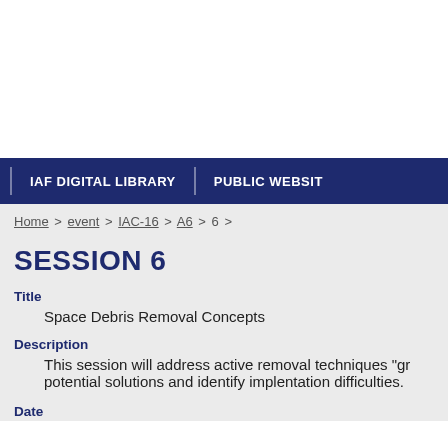IAF DIGITAL LIBRARY | PUBLIC WEBSITE
Home > event > IAC-16 > A6 > 6 >
SESSION 6
Title
Space Debris Removal Concepts
Description
This session will address active removal techniques "gr potential solutions and identify implentation difficulties.
Date